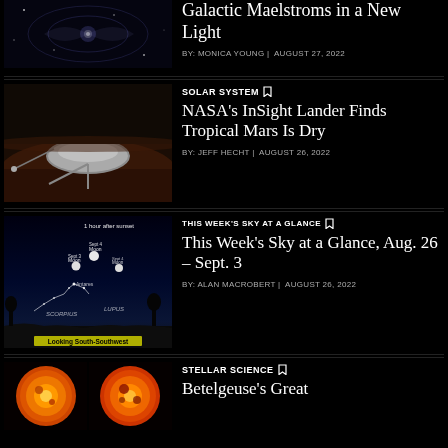[Figure (photo): Partial view of galaxy/space image, dark with swirling blue-white features]
Galactic Maelstroms in a New Light
BY: MONICA YOUNG | AUGUST 27, 2022
[Figure (photo): NASA InSight lander on Mars surface, showing dome-shaped seismometer]
SOLAR SYSTEM
NASA's InSight Lander Finds Tropical Mars Is Dry
BY: JEFF HECHT | AUGUST 26, 2022
[Figure (illustration): Sky chart showing Moon positions Sep 3-4 and constellation Scorpius/Lupus, looking south-southwest 1 hour after sunset]
THIS WEEK'S SKY AT A GLANCE
This Week's Sky at a Glance, Aug. 26 – Sept. 3
BY: ALAN MACROBERT | AUGUST 26, 2022
[Figure (photo): Two images of Betelgeuse star, orange-red with dark spots]
STELLAR SCIENCE
Betelgeuse's Great